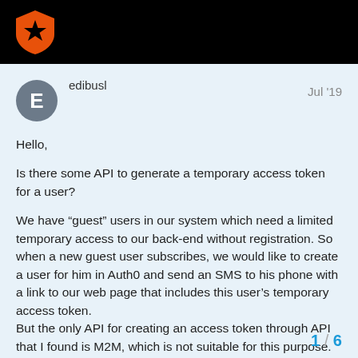[Figure (logo): Auth0 shield logo in orange and black on a black header bar]
edibusl
Jul '19
Hello,

Is there some API to generate a temporary access token for a user?

We have “guest” users in our system which need a limited temporary access to our back-end without registration. So when a new guest user subscribes, we would like to create a user for him in Auth0 and send an SMS to his phone with a link to our web page that includes this user’s temporary access token.
But the only API for creating an access token through API that I found is M2M, which is not suitable for this purpose.
The other option of passwordless login
1 / 6